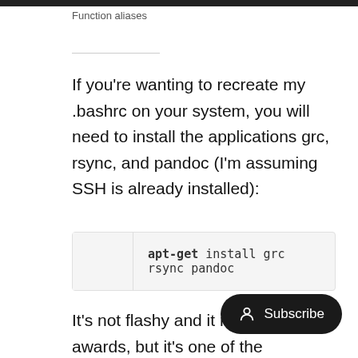Function aliases
If you're wanting to recreate my .bashrc on your system, you will need to install the applications grc, rsync, and pandoc (I'm assuming SSH is already installed):
apt-get install grc rsync pandoc
It's not flashy and it may not awards, but it's one of the fundamental